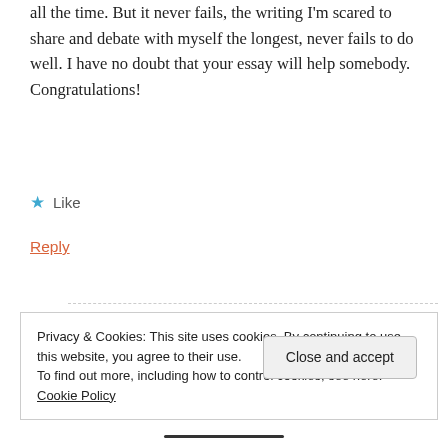all the time. But it never fails, the writing I'm scared to share and debate with myself the longest, never fails to do well. I have no doubt that your essay will help somebody. Congratulations!
★ Like
Reply
Caryn
FEBRUARY 10, 2016 AT 12:54 PM
Privacy & Cookies: This site uses cookies. By continuing to use this website, you agree to their use.
To find out more, including how to control cookies, see here: Cookie Policy
Close and accept